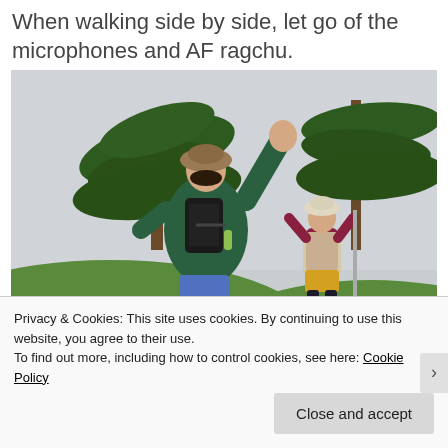When walking side by side, let go of the microphones and AF ragchu.
[Figure (photo): Two people on a grassy hilltop with pine trees in the background. One person in a green jacket and backpack has both arms raised, facing away from the camera. Another person in a maroon top, yellow shorts, and pink boots stands further away with arms raised in greeting.]
Privacy & Cookies: This site uses cookies. By continuing to use this website, you agree to their use.
To find out more, including how to control cookies, see here: Cookie Policy
Close and accept